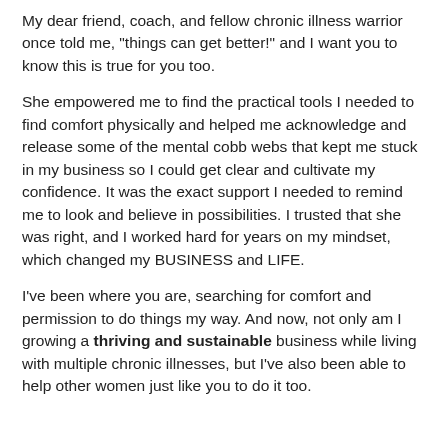My dear friend, coach, and fellow chronic illness warrior once told me, "things can get better!" and I want you to know this is true for you too.
She empowered me to find the practical tools I needed to find comfort physically and helped me acknowledge and release some of the mental cobb webs that kept me stuck in my business so I could get clear and cultivate my confidence. It was the exact support I needed to remind me to look and believe in possibilities. I trusted that she was right, and I worked hard for years on my mindset, which changed my BUSINESS and LIFE.
I've been where you are, searching for comfort and permission to do things my way. And now, not only am I growing a thriving and sustainable business while living with multiple chronic illnesses, but I've also been able to help other women just like you to do it too.